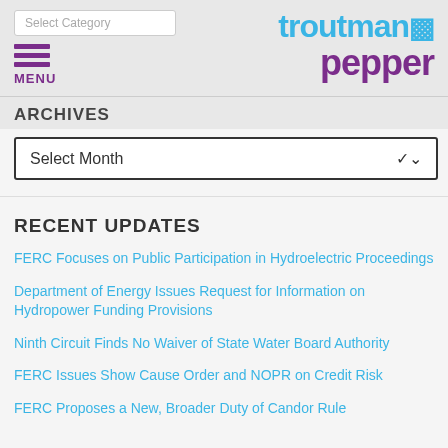Select Category | troutman pepper
MENU
ARCHIVES
Select Month
RECENT UPDATES
FERC Focuses on Public Participation in Hydroelectric Proceedings
Department of Energy Issues Request for Information on Hydropower Funding Provisions
Ninth Circuit Finds No Waiver of State Water Board Authority
FERC Issues Show Cause Order and NOPR on Credit Risk
FERC Proposes a New, Broader Duty of Candor Rule